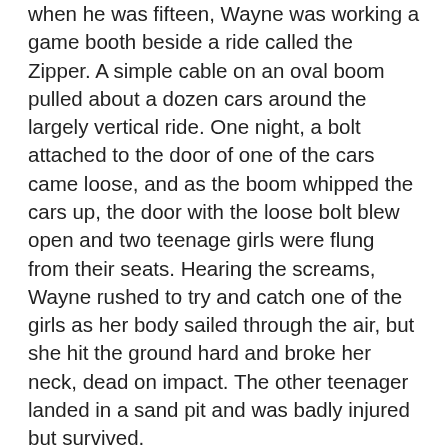when he was fifteen, Wayne was working a game booth beside a ride called the Zipper. A simple cable on an oval boom pulled about a dozen cars around the largely vertical ride. One night, a bolt attached to the door of one of the cars came loose, and as the boom whipped the cars up, the door with the loose bolt blew open and two teenage girls were flung from their seats. Hearing the screams, Wayne rushed to try and catch one of the girls as her body sailed through the air, but she hit the ground hard and broke her neck, dead on impact. The other teenager landed in a sand pit and was badly injured but survived.
Wayne had seen death before. He was a hunter. But he'd never witnessed someone killed in an accident, and especially someone so young and in such a senseless way. He'd always felt he had control over the world immediately around him,